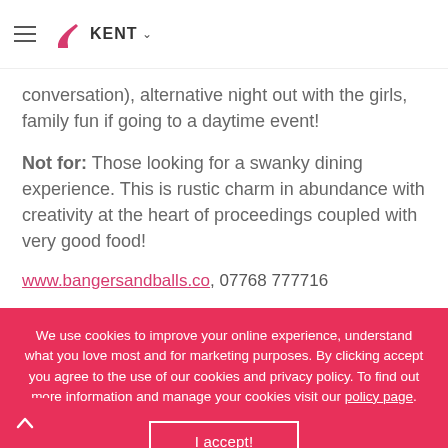KENT
conversation), alternative night out with the girls, family fun if going to a daytime event!
Not for: Those looking for a swanky dining experience. This is rustic charm in abundance with creativity at the heart of proceedings coupled with very good food!
www.bangersandballs.co, 07768 777716
Find more ideas here
We use cookies to improve your online experience, understand what you love most and for marketing purposes. By clicking accept you agree to the use of our cookies and privacy policy. To find out more information and manage your cookies visit our policy page.
2 comments on “Bangers & Balls Supper Club”
Ange